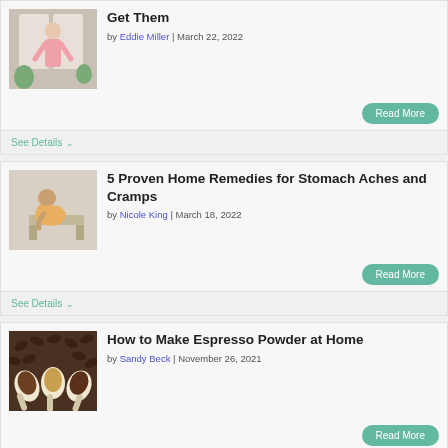[Figure (photo): Woman standing near window in pink outfit]
Get Them
by Eddie Miller | March 22, 2022
Read More
See Details
[Figure (photo): Person hunched over in pain, stomach ache]
5 Proven Home Remedies for Stomach Aches and Cramps
by Nicole King | March 18, 2022
Read More
See Details
[Figure (photo): Coffee spoons with espresso powder and beans]
How to Make Espresso Powder at Home
by Sandy Beck | November 26, 2021
Read More